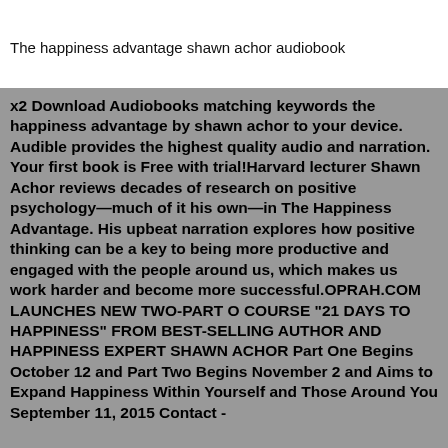The happiness advantage shawn achor audiobook
x2 Download Audiobooks matching keywords the happiness advantage by shawn achor to your device. Audible provides the highest quality audio and narration. Your first book is Free with trial!Harvard lecturer Shawn Achor reviews decades of research on positive psychology—much of it his own—in The Happiness Advantage. His upbeat narration explores how positive thinking can be a key to being more productive and engaged with the people around us, which makes us work harder and become more successful.OPRAH.COM LAUNCHES NEW TWO-PART O COURSE "21 DAYS TO HAPPINESS" FROM BEST-SELLING AUTHOR AND HAPPINESS EXPERT SHAWN ACHOR Part One Begins October 12 and Part Two Begins November 2 and Aims to Expand Happiness Within Yourself and Those Around You September 11, 2015 Contact -